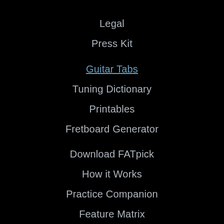Legal
Press Kit
Guitar Tabs
Tuning Dictionary
Printables
Fretboard Generator
Download FATpick
How it Works
Practice Companion
Feature Matrix